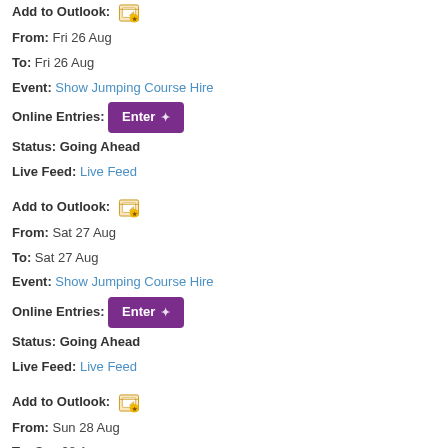Add to Outlook: [icon]
From: Fri 26 Aug
To: Fri 26 Aug
Event: Show Jumping Course Hire
Online Entries: [Enter button]
Status: Going Ahead
Live Feed: Live Feed
Add to Outlook: [icon]
From: Sat 27 Aug
To: Sat 27 Aug
Event: Show Jumping Course Hire
Online Entries: [Enter button]
Status: Going Ahead
Live Feed: Live Feed
Add to Outlook: [icon]
From: Sun 28 Aug
To: Sun 28 Aug
Event: Show Jumping Course Hire